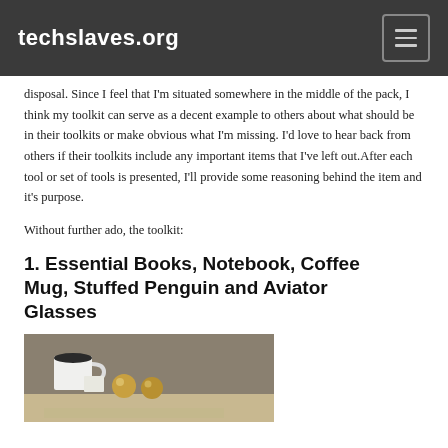techslaves.org
disposal. Since I feel that I'm situated somewhere in the middle of the pack, I think my toolkit can serve as a decent example to others about what should be in their toolkits or make obvious what I'm missing. I'd love to hear back from others if their toolkits include any important items that I've left out.After each tool or set of tools is presented, I'll provide some reasoning behind the item and it's purpose.
Without further ado, the toolkit:
1. Essential Books, Notebook, Coffee Mug, Stuffed Penguin and Aviator Glasses
[Figure (photo): Photograph showing a coffee mug, some round golden objects (possibly aviator glasses accessories or other items) on a surface. Partially visible, cropped at bottom of page.]